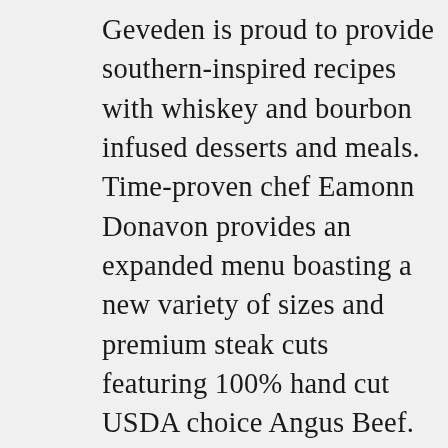Geveden is proud to provide southern-inspired recipes with whiskey and bourbon infused desserts and meals. Time-proven chef Eamonn Donavon provides an expanded menu boasting a new variety of sizes and premium steak cuts featuring 100% hand cut USDA choice Angus Beef. We will also offer Prime Rib and Fillet Medallions continuing to be supplied by R&R meats. As of Monday, December 10, 2018, we are officially open for business and look forward to sharing our passion with you, one high-quality steak and glass of whiskey at a time!